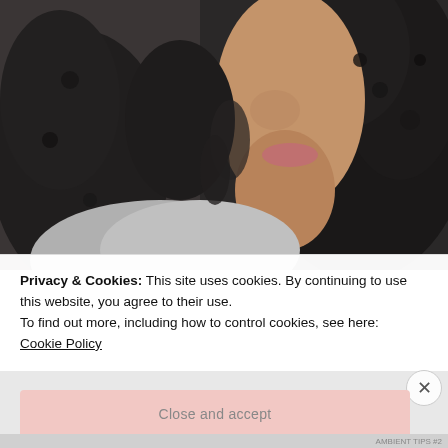[Figure (photo): Close-up photo of a young woman with long curly dark hair and a grey sweater, photographed from the side/profile showing her chin, lips and hair. Background is dark/blurred.]
Privacy & Cookies: This site uses cookies. By continuing to use this website, you agree to their use.
To find out more, including how to control cookies, see here:
Cookie Policy
Close and accept
AMBIENT TIPS #2